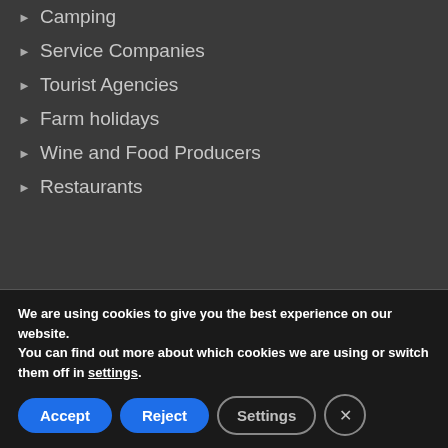Camping
Service Companies
Tourist Agencies
Farm holidays
Wine and Food Producers
Restaurants
Gargano Ok
Photogallery
We are using cookies to give you the best experience on our website.
You can find out more about which cookies we are using or switch them off in settings.